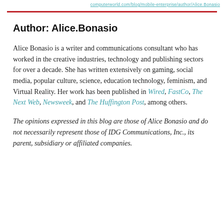computerworld.com/blog/mobile-enterprise/author/Alice.Bonasio
Author: Alice.Bonasio
Alice Bonasio is a writer and communications consultant who has worked in the creative industries, technology and publishing sectors for over a decade. She has written extensively on gaming, social media, popular culture, science, education technology, feminism, and Virtual Reality. Her work has been published in Wired, FastCo, The Next Web, Newsweek, and The Huffington Post, among others.
The opinions expressed in this blog are those of Alice Bonasio and do not necessarily represent those of IDG Communications, Inc., its parent, subsidiary or affiliated companies.